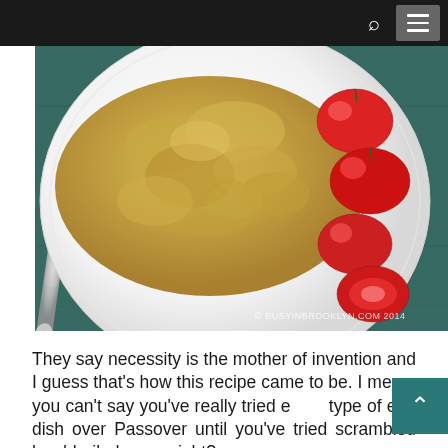[Figure (photo): A white plate with scrambled hard-boiled eggs and cherry tomatoes on a teal wooden surface, with a silver knife/utensil to the left. Watermark reads '© BUSYINBROOKLYN.COM 2014'.]
They say necessity is the mother of invention and I guess that's how this recipe came to be. I mean, you can't say you've really tried every type of egg dish over Passover until you've tried scrambled hard-boiled eggs, right?